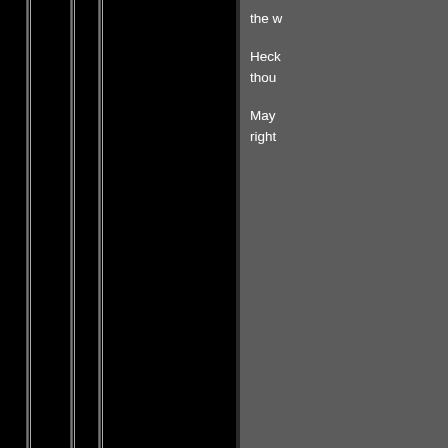[Figure (screenshot): Forum/community website screenshot showing a dark-themed page. Left side is black with vertical gray/silver lines. Top right shows a gray panel with truncated white text paragraphs beginning with 'the w...', 'Heck thou...', 'May right...'. A horizontal separator line is visible. Below is a black strip followed by a user profile card for 'MottiKhan' with a dark avatar (grinning face logo), join date 04/2007, and reputation score +152. A 'Reply' button and blue quote box are partially visible on the far right.]
the w
Heck thou
May right
MottiKhan
Join Date 04/2007
+152
Reply
Qu
I ga acc